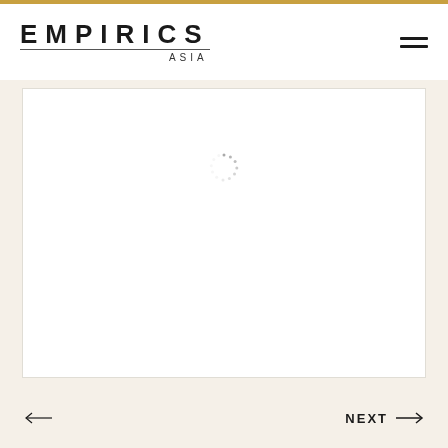EMPIRICS ASIA
[Figure (other): A white rectangular content area with a circular loading spinner (dotted circle) in the upper center portion, indicating a loading state for an image or content.]
← NEXT →